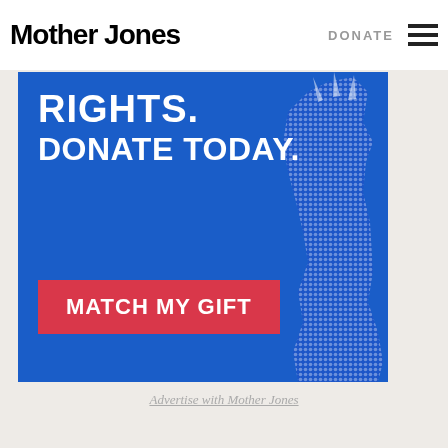Mother Jones | DONATE
[Figure (infographic): Blue donation banner ad with white bold text reading 'RIGHTS. DONATE TODAY.' and a red button 'MATCH MY GIFT', with a halftone Statue of Liberty silhouette on the right side.]
Advertise with Mother Jones